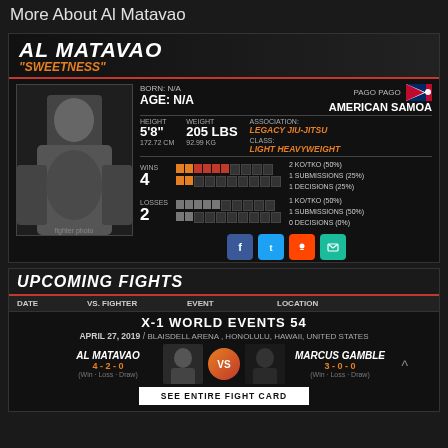More About Al Matavao
AL MATAVAO "SWEETNESS"
BORN: N/A
AGE: N/A
HEIGHT: 5'8"
WEIGHT: 205 LBS
172.72 CM  92.99 KG
ASSOCIATION: LEGACY JIU-JITSU
CLASS: LIGHT HEAVYWEIGHT
PAGO PAGO
AMERICAN SAMOA
WINS 4
2 KO/TKO (50%)
1 SUBMISSIONS (25%)
1 DECISIONS (25%)
LOSSES 2
1 KO/TKO (50%)
1 SUBMISSIONS (50%)
0 DECISIONS (0%)
[Figure (photo): Fighter photo of Al Matavao]
UPCOMING FIGHTS
| DATE | VS. FIGHTER | EVENT | LOCATION |
| --- | --- | --- | --- |
X-1 WORLD EVENTS 54
APRIL 27, 2019 / BLAISDELL ARENA , HONOLULU, HAWAII, UNITED STATES
AL MATAVAO 4-2-0 (Win - Loss - Draw)
VS
MARCUS GAMBLE 3-0-0 (Win - Loss - Draw)